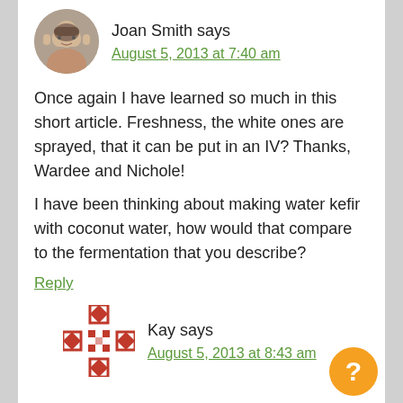[Figure (photo): Round avatar photo of Joan Smith, an older woman]
Joan Smith says
August 5, 2013 at 7:40 am
Once again I have learned so much in this short article. Freshness, the white ones are sprayed, that it can be put in an IV? Thanks, Wardee and Nichole!
I have been thinking about making water kefir with coconut water, how would that compare to the fermentation that you describe?
Reply
[Figure (logo): Red geometric quilt-pattern avatar icon for Kay]
Kay says
August 5, 2013 at 8:43 am